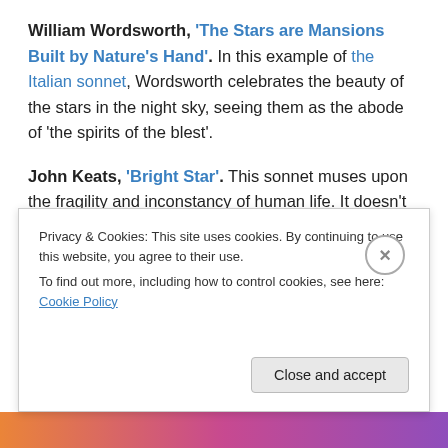William Wordsworth, 'The Stars are Mansions Built by Nature's Hand'. In this example of the Italian sonnet, Wordsworth celebrates the beauty of the stars in the night sky, seeing them as the abode of 'the spirits of the blest'.
John Keats, 'Bright Star'. This sonnet muses upon the fragility and inconstancy of human life. It doesn't actually have a title, and instead is known by its first line, 'Bright star! Would I were stedfast as thou art', and sees Keats comparing his own condition with that of a star 'stedfast' in the night sky. Keats copied the finished version of the
Privacy & Cookies: This site uses cookies. By continuing to use this website, you agree to their use.
To find out more, including how to control cookies, see here: Cookie Policy